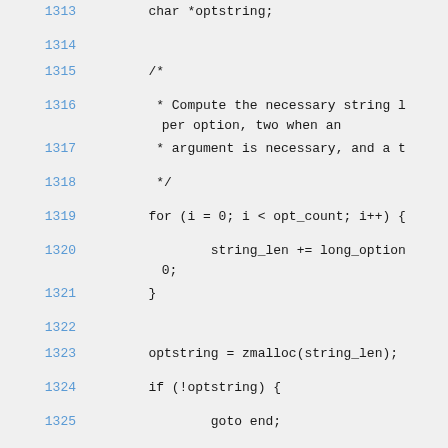Source code listing lines 1313-1326 showing C code with char *optstring, comment about computing string length, for loop, string_len += long_option, optstring = zmalloc(string_len), if (!optstring) and goto end